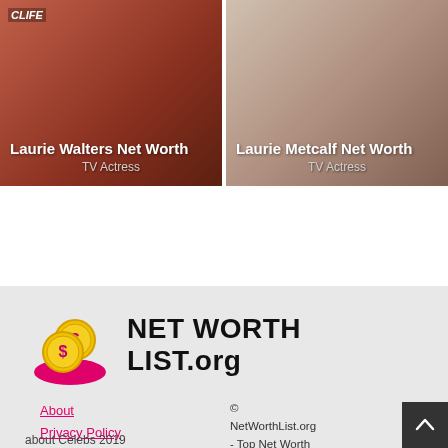[Figure (photo): Photo card of Laurie Walters with text overlay: Laurie Walters Net Worth, TV Actress]
[Figure (photo): Photo card of Laurie Metcalf with text overlay: Laurie Metcalf Net Worth, TV Actress]
[Figure (logo): Net Worth List.org logo with pink hand holding coins icon]
About
Privacy Policy
Terms
© NetWorthList.org - Top Net Worth You've Always Wanted to Know
about Celebs 2019